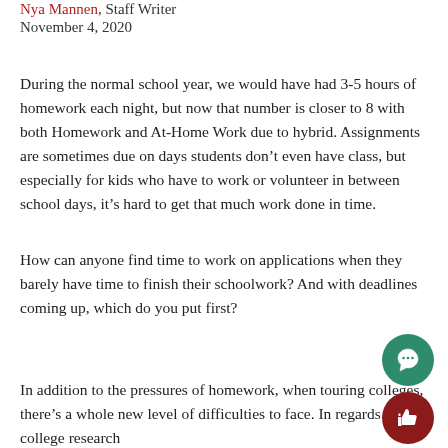Nya Mannen, Staff Writer
November 4, 2020
During the normal school year, we would have had 3-5 hours of homework each night, but now that number is closer to 8 with both Homework and At-Home Work due to hybrid. Assignments are sometimes due on days students don’t even have class, but especially for kids who have to work or volunteer in between school days, it’s hard to get that much work done in time.
How can anyone find time to work on applications when they barely have time to finish their schoolwork? And with deadlines coming up, which do you put first?
In addition to the pressures of homework, when touring colleges, there’s a whole new level of difficulties to face. In regards to college research